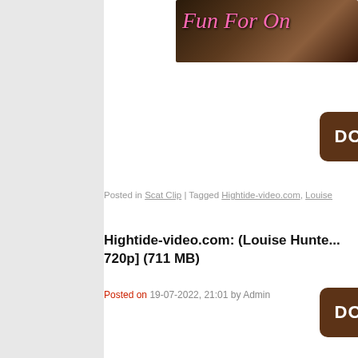[Figure (photo): Partial banner image with decorative text 'Fun For On...' on dark floral background]
[Figure (other): Brown download button (partially visible, showing 'DO...')]
Posted in Scat Clip | Tagged Hightide-video.com, Louise...
Hightide-video.com: (Louise Hunte... 720p] (711 MB)
Posted on 19-07-2022, 21:01 by Admin
[Figure (other): Brown download button (partially visible, showing 'DO...')]